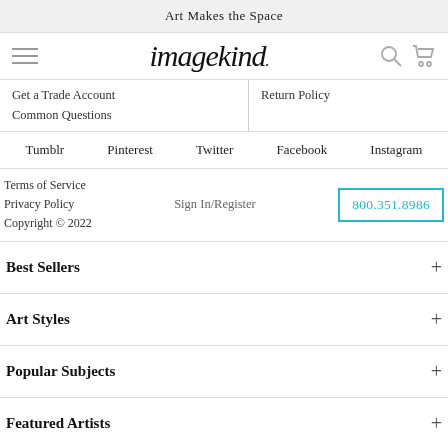Art Makes the Space
[Figure (logo): Imagekind logo with hamburger menu, search icon, and cart icon]
Get a Trade Account
Common Questions
Return Policy
Tumblr  Pinterest  Twitter  Facebook  Instagram
Terms of Service
Privacy Policy
Copyright © 2022
Sign In/Register
800.351.8986
Best Sellers
Art Styles
Popular Subjects
Featured Artists